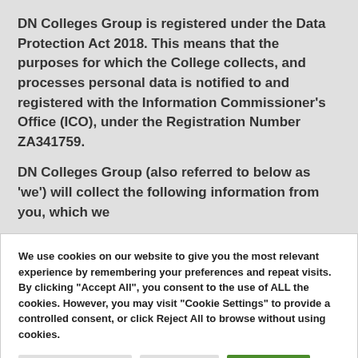DN Colleges Group is registered under the Data Protection Act 2018. This means that the purposes for which the College collects, and processes personal data is notified to and registered with the Information Commissioner's Office (ICO), under the Registration Number ZA341759.
DN Colleges Group (also referred to below as 'we') will collect the following information from you, which we
We use cookies on our website to give you the most relevant experience by remembering your preferences and repeat visits. By clicking "Accept All", you consent to the use of ALL the cookies. However, you may visit "Cookie Settings" to provide a controlled consent, or click Reject All to browse without using cookies.
Cookie Settings | Reject All | Accept All